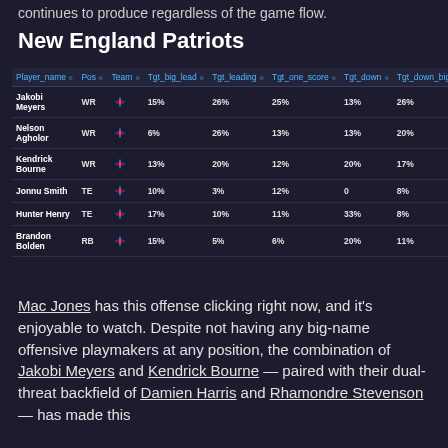continues to produce regardless of the game flow.
New England Patriots
| Player_name | Pos | Team | Tgt_big_lead | Tgt_leading | Tgt_one_score | Tgt_down | Tgt_down_big |
| --- | --- | --- | --- | --- | --- | --- | --- |
| Jakobi Meyers | WR | NE | 15% | 26% | 25% | 13% | 26% |
| Nelson Agholor | WR | NE | 6% | 26% | 13% | 13% | 20% |
| Kendrick Bourne | WR | NE | 13% | 20% | 12% | 20% | 17% |
| Jonnu Smith | TE | NE | 10% | 3% | 12% | 0 | 8% |
| Hunter Henry | TE | NE | 17% | 10% | 11% | 33% | 8% |
| Brandon Bolden | RB | NE | 15% | 5% | 6% | 20% | 11% |
Mac Jones has this offense clicking right now, and it's enjoyable to watch. Despite not having any big-name offensive playmakers at any position, the combination of Jakobi Meyers and Kendrick Bourne — paired with their dual-threat backfield of Damien Harris and Rhamondre Stevenson — has made this